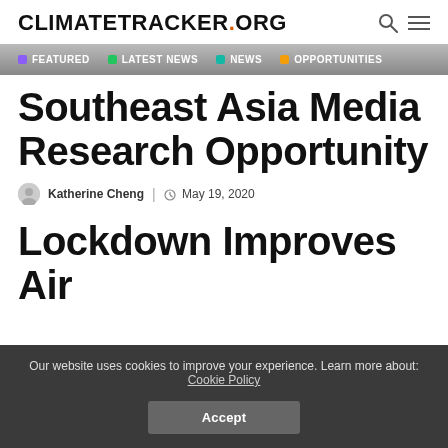CLIMATETRACKER.ORG
FEATURED | LATEST NEWS | NEWS | OPPORTUNITIES
Southeast Asia Media Research Opportunity
Katherine Cheng | May 19, 2020
Lockdown Improves Air
Our website uses cookies to improve your experience. Learn more about: Cookie Policy
Accept